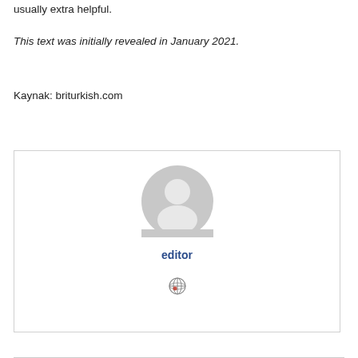usually extra helpful.
This text was initially revealed in January 2021.
Kaynak: briturkish.com
[Figure (illustration): Author card box with a generic grey avatar icon, bold blue 'editor' label, and a small globe icon below.]